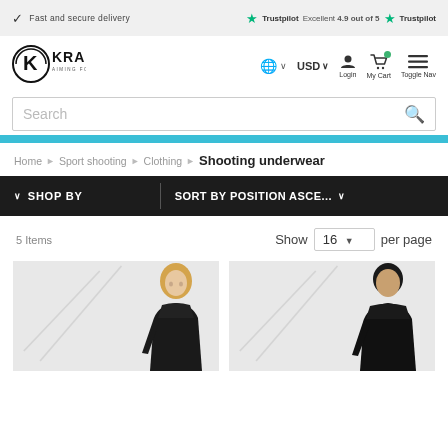✓ Fast and secure delivery   ★ Trustpilot  Excellent 4.9 out of 5 ★ Trustpilot
[Figure (logo): KRALE logo - circular K emblem with text KRALE AIMING FOR EXCELLENCE]
🌐 ∨  USD∨  Login  My Cart  Toggle Nav
Search
Home > Sport shooting > Clothing > Shooting underwear
∨ SHOP BY  |  SORT BY POSITION ASCE... ∨
5 Items
Show  16 ▼  per page
[Figure (photo): Two product thumbnail photos showing models wearing dark shooting clothing/underwear]